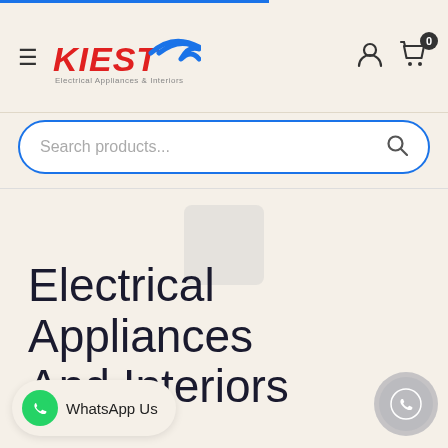[Figure (screenshot): Website header with hamburger menu, KIEST logo with blue swoosh arrow, user icon, and cart icon with badge showing 0]
Search products...
[Figure (illustration): Loading/placeholder image icon, a small rounded square in light grey]
Electrical Appliances And Interiors
WhatsApp Us